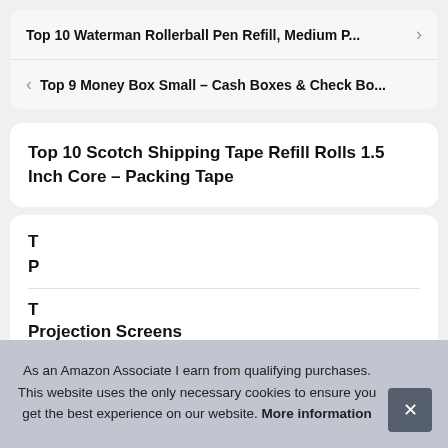Top 10 Waterman Rollerball Pen Refill, Medium P... >
< Top 9 Money Box Small – Cash Boxes & Check Bo...
Top 10 Scotch Shipping Tape Refill Rolls 1.5 Inch Core – Packing Tape
T
P
T
Projection Screens
As an Amazon Associate I earn from qualifying purchases. This website uses the only necessary cookies to ensure you get the best experience on our website. More information